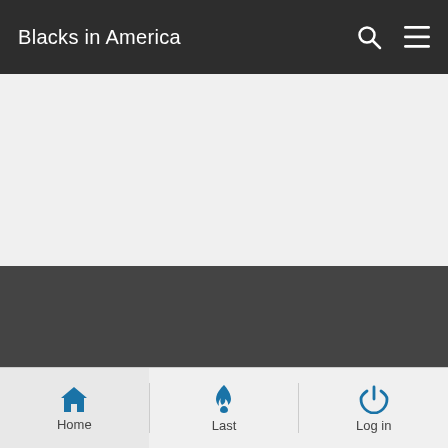Blacks in America
[Figure (screenshot): Gray content area placeholder]
[Figure (screenshot): Dark media/video placeholder area]
Home | Last | Log in